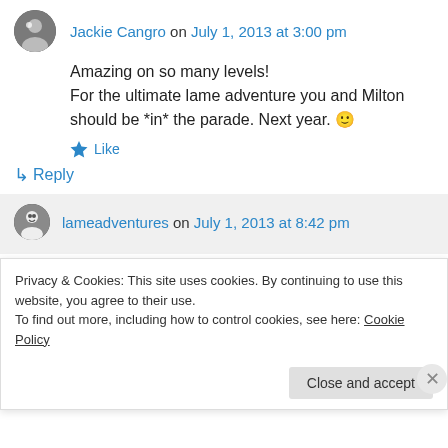Jackie Cangro on July 1, 2013 at 3:00 pm
Amazing on so many levels!
For the ultimate lame adventure you and Milton should be *in* the parade. Next year. 🙂
Like
Reply
lameadventures on July 1, 2013 at 8:42 pm
Privacy & Cookies: This site uses cookies. By continuing to use this website, you agree to their use.
To find out more, including how to control cookies, see here: Cookie Policy
Close and accept